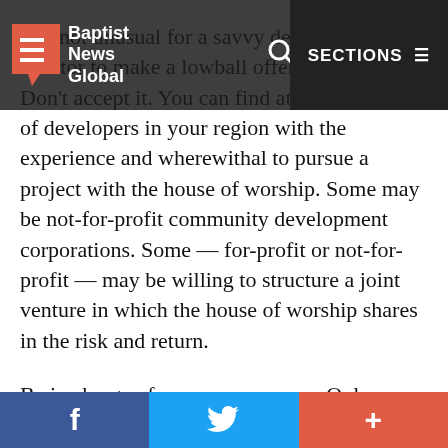Baptist News Global | SECTIONS
It is not unusual for a savvy developer or Realtor to make a lowball offer for a property. Don't accept it. You can find at least a handful of developers in your region with the experience and wherewithal to pursue a project with the house of worship. Some may be not-for-profit community development corporations. Some — for-profit or not-for-profit — may be willing to structure a joint venture in which the house of worship shares in the risk and return.
Be in charge of your own process. Only partner with local developers with good track records.
4. Do budget conservatively, with both time and money.
However long you are told your project will take, it will
f  Twitter  +